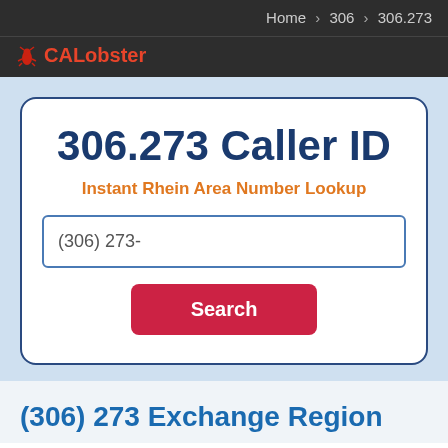Home › 306 › 306.273
CALobster
306.273 Caller ID
Instant Rhein Area Number Lookup
(306) 273-
Search
(306) 273 Exchange Region